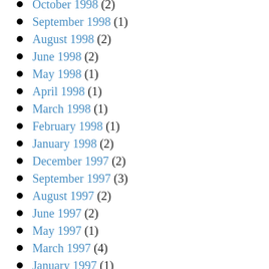October 1998 (2)
September 1998 (1)
August 1998 (2)
June 1998 (2)
May 1998 (1)
April 1998 (1)
March 1998 (1)
February 1998 (1)
January 1998 (2)
December 1997 (2)
September 1997 (3)
August 1997 (2)
June 1997 (2)
May 1997 (1)
March 1997 (4)
January 1997 (1)